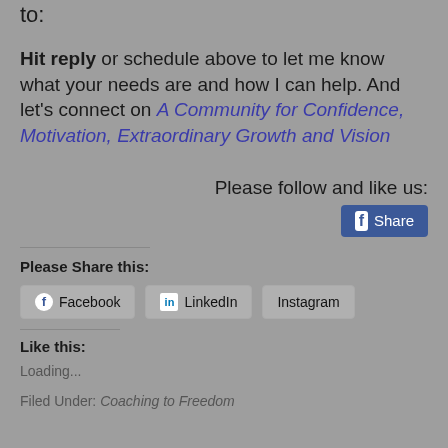to:
Hit reply or schedule above to let me know what your needs are and how I can help. And let's connect on A Community for Confidence, Motivation, Extraordinary Growth and Vision
Please follow and like us:
[Figure (screenshot): Facebook Share button with blue background]
Please Share this:
[Figure (screenshot): Social share buttons: Facebook, LinkedIn, Instagram]
Like this:
Loading...
Filed Under: Coaching to Freedom